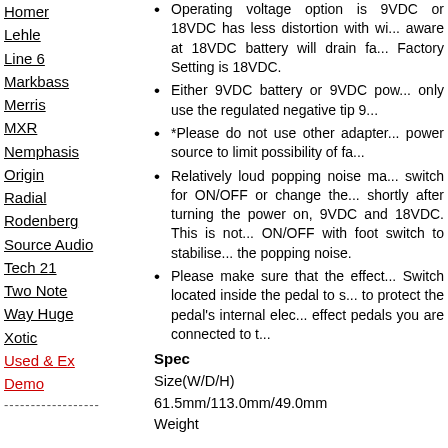Homer
Lehle
Line 6
Markbass
Merris
MXR
Nemphasis
Origin
Radial
Rodenberg
Source Audio
Tech 21
Two Note
Way Huge
Xotic
Used & Ex Demo
------------------
Operating voltage option is 9VDC or 18VDC has less distortion with wi... aware at 18VDC battery will drain fa... Factory Setting is 18VDC.
Either 9VDC battery or 9VDC pow... only use the regulated negative tip 9...
*Please do not use other adapter... power source to limit possibility of fa...
Relatively loud popping noise ma... switch for ON/OFF or change the... shortly after turning the power on, 9VDC and 18VDC. This is not... ON/OFF with foot switch to stabilise... the popping noise.
Please make sure that the effect... Switch located inside the pedal to s... to protect the pedal's internal elec... effect pedals you are connected to t...
Spec
Size(W/D/H)
61.5mm/113.0mm/49.0mm
Weight